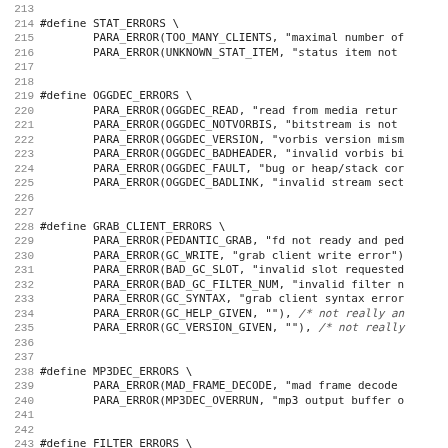[Figure (screenshot): Source code listing showing C preprocessor macro definitions for error codes: STAT_ERRORS, OGGDEC_ERRORS, GRAB_CLIENT_ERRORS, MP3DEC_ERRORS, and FILTER_ERRORS, with line numbers 213-245.]